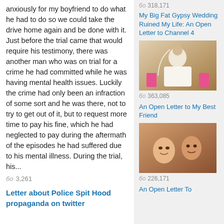anxiously for my boyfriend to do what he had to do so we could take the drive home again and be done with it. Just before the trial came that would require his testimony, there was another man who was on trial for a crime he had committed while he was having mental health issues. Luckily the crime had only been an infraction of some sort and he was there, not to try to get out of it, but to request more time to pay his fine, which he had neglected to pay during the aftermath of the episodes he had suffered due to his mental illness. During the trial, his…
3,261
Letter about Police Spit Hood propaganda on twitter
My Big Fat Gypsy Wedding Ruined My Life: An Open Letter to Channel 4
[Figure (photo): Photo of a bride in white wedding dress with veil and tiara, with children in pink dresses in background]
363,085
An Open Letter to My Best Friend
[Figure (photo): Photo of two people taking a selfie, appearing upside down]
226,171
An Open Letter To